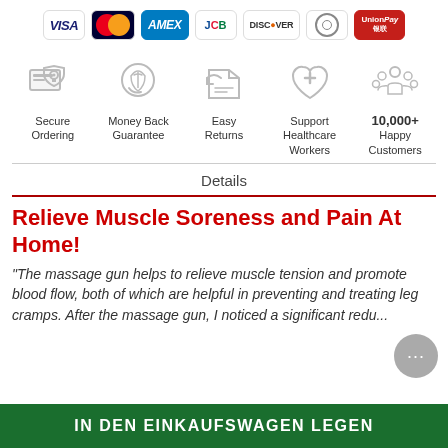[Figure (infographic): Payment method badges: VISA, Mastercard, AMEX, JCB, DISCOVER, Diners Club, UnionPay]
[Figure (infographic): Trust badges row: Secure Ordering, Money Back Guarantee, Easy Returns, Support Healthcare Workers, 10,000+ Happy Customers]
Details
Relieve Muscle Soreness and Pain At Home!
"The massage gun helps to relieve muscle tension and promote blood flow, both of which are helpful in preventing and treating leg cramps. After the massage gun, I noticed a significant redu...
IN DEN EINKAUFSWAGEN LEGEN